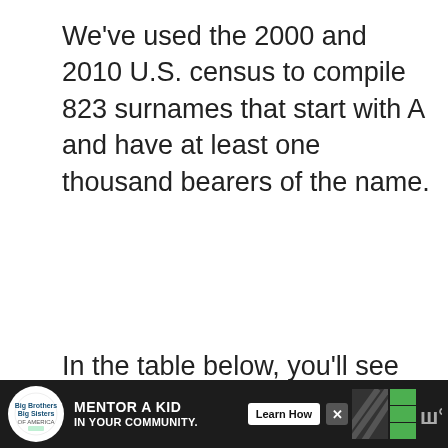We've used the 2000 and 2010 U.S. census to compile 823 surnames that start with A and have at least one thousand bearers of the name.
In the table below, you'll see the total number of bearers for the name in each census.
Table of Contents
1. Can't Find A Name?
2. Meanings Of Popular Last Names
[Figure (infographic): Advertisement banner for Big Brothers Big Sisters: 'MENTOR A KID IN YOUR COMMUNITY.' with a Learn How button]